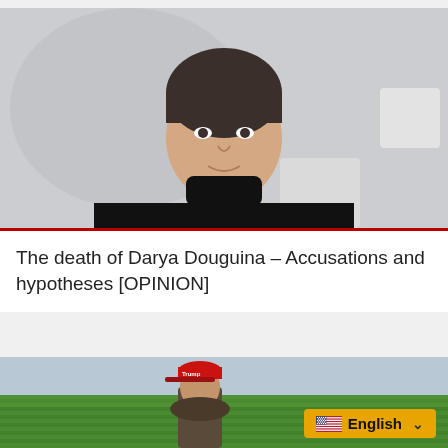[Figure (photo): A woman with short dark hair wearing a black turtleneck and a silver necklace, photographed in an interview-style setting with a light grey background. She appears to be speaking or smiling.]
The death of Darya Douguina – Accusations and hypotheses [OPINION]
[Figure (photo): A man wearing a red Trump cap standing in a large green agricultural field under a cloudy sky.]
English